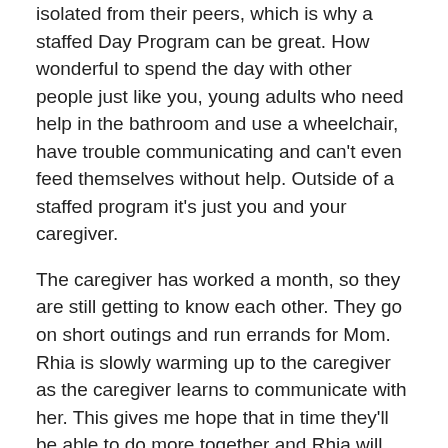isolated from their peers, which is why a staffed Day Program can be great. How wonderful to spend the day with other people just like you, young adults who need help in the bathroom and use a wheelchair, have trouble communicating and can't even feed themselves without help. Outside of a staffed program it's just you and your caregiver.
The caregiver has worked a month, so they are still getting to know each other. They go on short outings and run errands for Mom. Rhia is slowly warming up to the caregiver as the caregiver learns to communicate with her. This gives me hope that in time they'll be able to do more together and Rhia will make connections with others in her community. We'll all figure out what activities are available and what she will enjoy. It just takes time.
Time… It's been over a year and Rhia and I are still trying